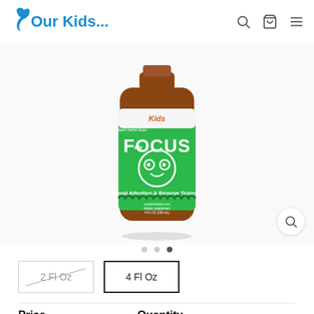Our Kids...
[Figure (photo): Bottle of Kids An Focus liquid herbal drops supplement with green label showing cartoon face eyes, text 'Boost Attention & Remove Toxins', 4 FL OZ (130 mL)]
2 Fl Oz (unavailable, strikethrough)
4 Fl Oz (selected)
Price
Quantity